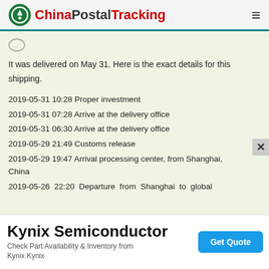ChinaPostalTracking
It was delivered on May 31. Here is the exact details for this shipping.
2019-05-31 10:28 Proper investment
2019-05-31 07:28 Arrive at the delivery office
2019-05-31 06:30 Arrive at the delivery office
2019-05-29 21:49 Customs release
2019-05-29 19:47 Arrival processing center, from Shanghai, China
2019-05-26 22:20 Departure from Shanghai to global
[Figure (other): Advertisement banner for Kynix Semiconductor with Get Quote button]